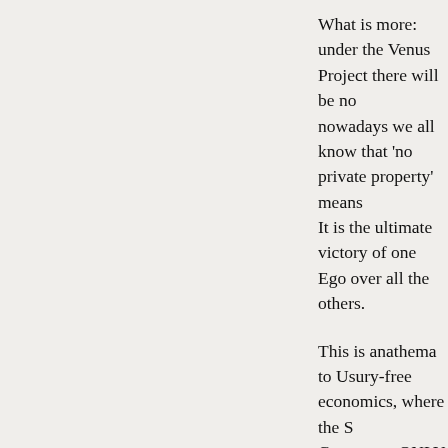What is more: under the Venus Project there will be no nowadays we all know that 'no private property' means It is the ultimate victory of one Ego over all the others.
This is anathema to Usury-free economics, where the S Commons, ONLY the People, which is the collection of comprise the People, have rights to the Commons: we a paying rents to the State, instead of some private Pluto NO rents.
Jacques Fresco has also intimated that he is against th should run child rearing. Because these evil families mi into believing in God, and the State is so neutral and sc and Truth so much, that they are in a much better positi think. Ok, that is slightly exaggerated, but the point is cl
Ubuntu
A couple of years back I had the pleasure of interviewing a great truthseeker, but also a man that has been know Bankers head on in South Africa.
Tellinger is solidly in the 'no money' camp, and is driven calls Ubuntu, a Zulu/Bantu concept. It's about solidarity. that nobody can be happy if one is unhappy. It's basical on life of the Africans. And obviously quite congruent wi